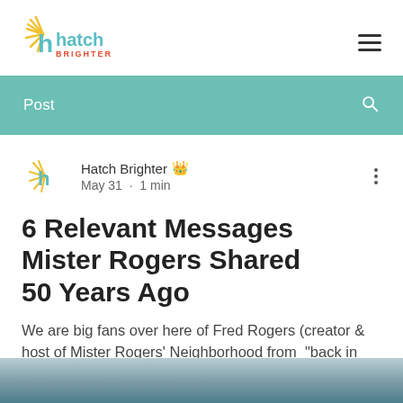Hatch Brighter
Post
Hatch Brighter  May 31 · 1 min
6 Relevant Messages Mister Rogers Shared 50 Years Ago
We are big fans over here of Fred Rogers (creator & host of Mister Rogers' Neighborhood from  "back in the day".
[Figure (photo): Bottom image strip, blurred background photo]